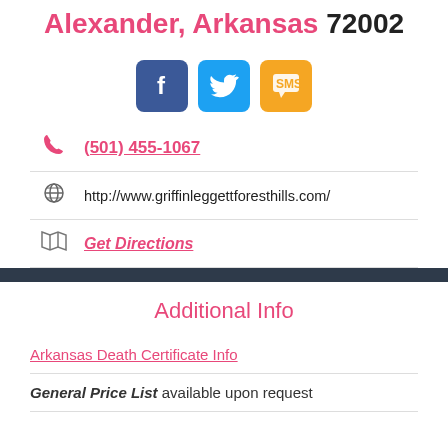Alexander, Arkansas 72002
[Figure (other): Social media buttons: Facebook (blue), Twitter (light blue), SMS (yellow/gold)]
(501) 455-1067
http://www.griffinleggettforesthills.com/
Get Directions
Additional Info
Arkansas Death Certificate Info
General Price List available upon request